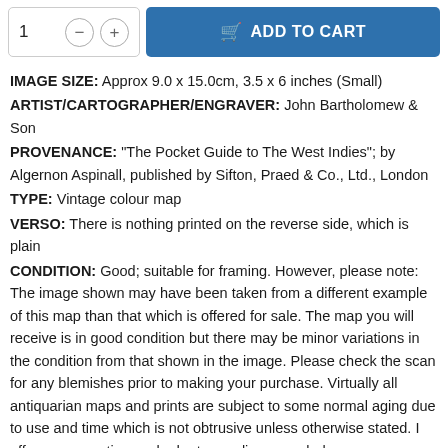[Figure (screenshot): Add to cart UI with quantity selector (minus/plus buttons showing '1') and a blue 'ADD TO CART' button with a shopping bag icon]
IMAGE SIZE: Approx 9.0 x 15.0cm, 3.5 x 6 inches (Small)
ARTIST/CARTOGRAPHER/ENGRAVER: John Bartholomew & Son
PROVENANCE: "The Pocket Guide to The West Indies"; by Algernon Aspinall, published by Sifton, Praed & Co., Ltd., London
TYPE: Vintage colour map
VERSO: There is nothing printed on the reverse side, which is plain
CONDITION: Good; suitable for framing. However, please note: The image shown may have been taken from a different example of this map than that which is offered for sale. The map you will receive is in good condition but there may be minor variations in the condition from that shown in the image. Please check the scan for any blemishes prior to making your purchase. Virtually all antiquarian maps and prints are subject to some normal aging due to use and time which is not obtrusive unless otherwise stated. I offer a no questions asked return policy – see below.
AUTHENTICITY: This is an authentic historic print, published at the time, in the best condition we can offer, in original condition.